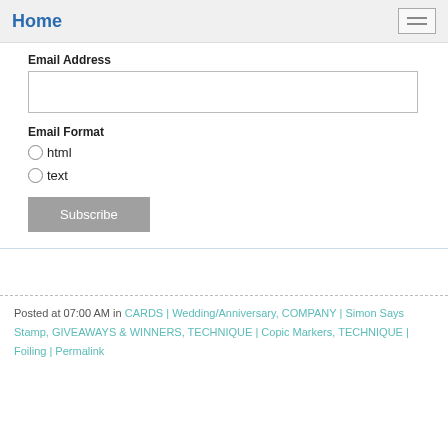Home
Email Address
Email Format
html
text
Subscribe
Posted at 07:00 AM in CARDS | Wedding/Anniversary, COMPANY | Simon Says Stamp, GIVEAWAYS & WINNERS, TECHNIQUE | Copic Markers, TECHNIQUE | Foiling | Permalink